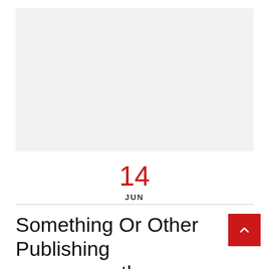[Figure (other): Blank light gray image placeholder area]
14
JUN
Something Or Other Publishing announces the